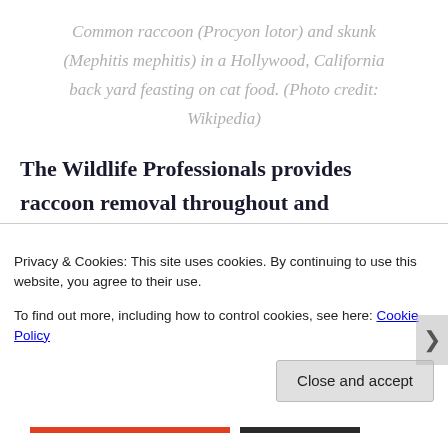Common raccoon (Procyon lotor) and skunk (Mephitis mephitis) in a Hollywood, California back yard feasting on cat food. (Photo credit: Wikipedia)
The Wildlife Professionals provides raccoon removal throughout and surrounding areas. Experts in Raccoon Control
Privacy & Cookies: This site uses cookies. By continuing to use this website, you agree to their use.
To find out more, including how to control cookies, see here: Cookie Policy
Close and accept